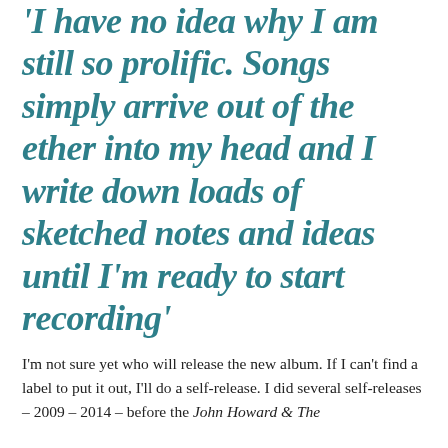'I have no idea why I am still so prolific. Songs simply arrive out of the ether into my head and I write down loads of sketched notes and ideas until I'm ready to start recording'
I'm not sure yet who will release the new album. If I can't find a label to put it out, I'll do a self-release. I did several self-releases – 2009 – 2014 – before the John Howard & The